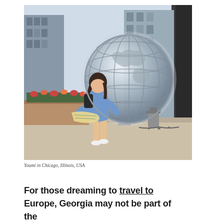[Figure (photo): A young woman in a blue dress holding a map, standing in front of a large silver globe sculpture (Columbus Circle globe) in Chicago, Illinois, USA. Urban background with tall glass buildings visible.]
Youmi in Chicago, Illinois, USA
For those dreaming to travel to Europe, Georgia may not be part of the